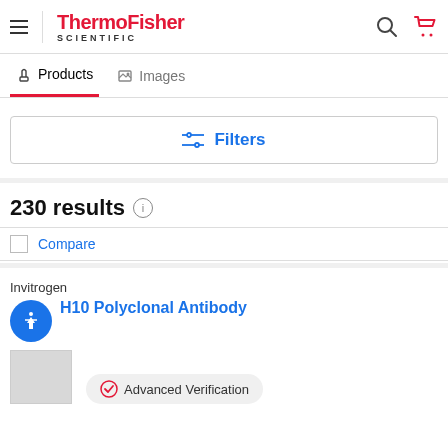ThermoFisher SCIENTIFIC
Products | Images
Filters
230 results
Compare
Invitrogen
H10 Polyclonal Antibody
Advanced Verification